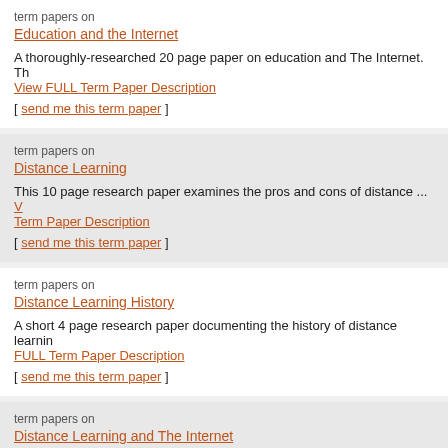term papers on
Education and the Internet
A thoroughly-researched 20 page paper on education and The Internet. Th View FULL Term Paper Description
[ send me this term paper ]
term papers on
Distance Learning
This 10 page research paper examines the pros and cons of distance ... V Term Paper Description
[ send me this term paper ]
term papers on
Distance Learning History
A short 4 page research paper documenting the history of distance learnin FULL Term Paper Description
[ send me this term paper ]
term papers on
Distance Learning and The Internet
15 pages in length. In this thorough examination of the 'distance learning' FULL Term Paper Description